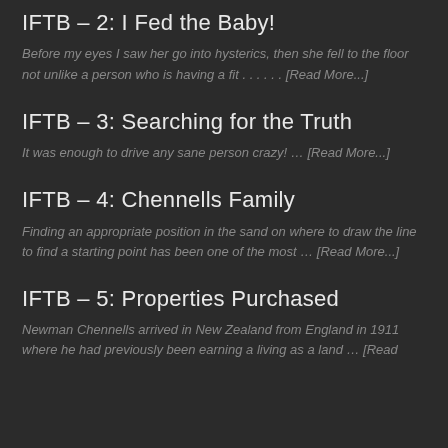IFTB – 2: I Fed the Baby!
Before my eyes I saw her go into hysterics, then she fell to the floor not unlike a person who is having a fit . . . . . . [Read More...]
IFTB – 3: Searching for the Truth
It was enough to drive any sane person crazy! … [Read More...]
IFTB – 4: Chennells Family
Finding an appropriate position in the sand on where to draw the line to find a starting point has been one of the most … [Read More...]
IFTB – 5: Properties Purchased
Newman Chennells arrived in New Zealand from England in 1911 where he had previously been earning a living as a land … [Read